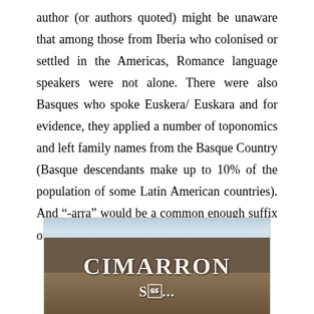author (or authors quoted) might be unaware that among those from Iberia who colonised or settled in the Americas, Romance language speakers were not alone. There were also Basques who spoke Euskera/ Euskara and for evidence, they applied a number of toponomics and left family names from the Basque Country (Basque descendants make up to 10% of the population of some Latin American countries). And “-arra” would be a common enough suffix or word-ending in Euskera.⁸
[Figure (photo): Book or film cover image showing the title CIMARRON with a mountainous landscape background featuring rocky terrain, mountains, and dramatic sky.]